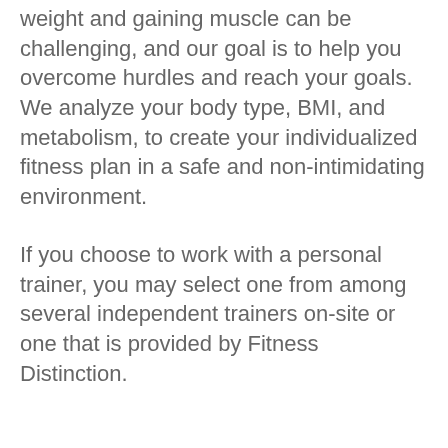weight and gaining muscle can be challenging, and our goal is to help you overcome hurdles and reach your goals. We analyze your body type, BMI, and metabolism, to create your individualized fitness plan in a safe and non-intimidating environment.
If you choose to work with a personal trainer, you may select one from among several independent trainers on-site or one that is provided by Fitness Distinction.